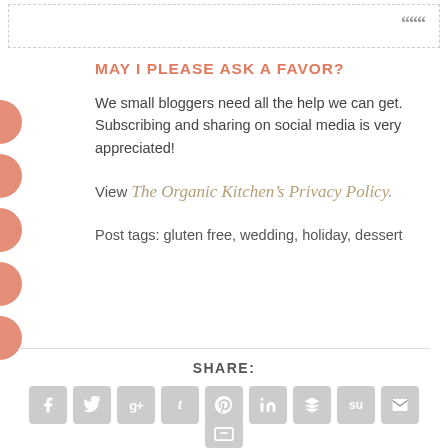[Figure (other): Decorative dashed box with quote marks icon at top right]
MAY I PLEASE ASK A FAVOR?
We small bloggers need all the help we can get. Subscribing and sharing on social media is very appreciated!
View The Organic Kitchen’s Privacy Policy.
Post tags: gluten free, wedding, holiday, dessert
SHARE:
[Figure (infographic): Row of social media share icon buttons: Facebook, Twitter, Google+, Tumblr, Pinterest, LinkedIn, Buffer, StumbleUpon, Email, and a partial icon at bottom]